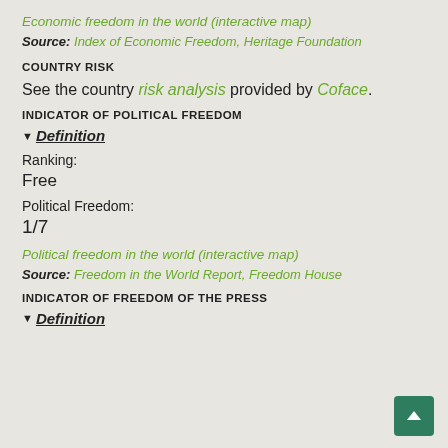Economic freedom in the world (interactive map)
Source: Index of Economic Freedom, Heritage Foundation
COUNTRY RISK
See the country risk analysis provided by Coface.
INDICATOR OF POLITICAL FREEDOM
▾ Definition
Ranking:
Free
Political Freedom:
1/7
Political freedom in the world (interactive map)
Source: Freedom in the World Report, Freedom House
INDICATOR OF FREEDOM OF THE PRESS
▾ Definition